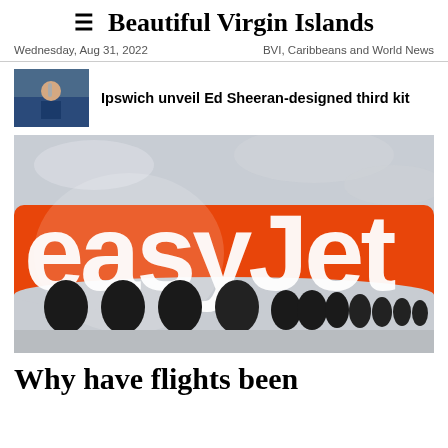Beautiful Virgin Islands
Wednesday, Aug 31, 2022   BVI, Caribbeans and World News
Ipswich unveil Ed Sheeran-designed third kit
[Figure (photo): Close-up photograph of an easyJet aircraft fuselage showing the orange body with white 'easyJet' logo and dark oval windows]
Why have flights been